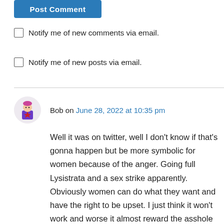[Figure (other): Post Comment button (blue rounded rectangle with white text)]
Notify me of new comments via email.
Notify me of new posts via email.
Bob on June 28, 2022 at 10:35 pm

Well it was on twitter, well I don't know if that's gonna happen but be more symbolic for women because of the anger. Going full Lysistrata and a sex strike apparently. Obviously women can do what they want and have the right to be upset. I just think it won't work and worse it almost reward the asshole conservatives because it's not punishing the gop or men taking these rights away. The sex strike isn't coming from